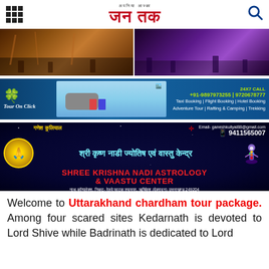जन तक (Jan Tak) - अपना आज़का
[Figure (photo): Two-panel banner image: left panel shows people in a warm orange-lit outdoor/historical setting, right panel shows people in a purple-lit modern setting]
[Figure (photo): Tour On Click advertisement banner: blue background with car and tourists image in center, logo on left, contact details and services on right. 24X7 CALL +91-9897973255 | 9720678777. Taxi Booking | Flight Booking | Hotel Booking. Adventure Tour | Rafting & Camping | Trekking]
[Figure (photo): Shree Krishna Nadi Astrology & Vaastu Center advertisement. Email: ganeshkuliyal88@gmail.com, Phone: 9411565007. Hindi heading: श्री कृष्ण नाडी ज्योतिष एवं वास्तु केन्द्र. Address: नाथ कॉम्पलेक्स, निकट- रेलवे फाटक श्यामपुर, ऋषिकेश (देहरादून) उत्तराखण्ड 249204]
Welcome to Uttarakhand chardham tour package. Among four scared sites Kedarnath is devoted to Lord Shive while Badrinath is dedicated to Lord